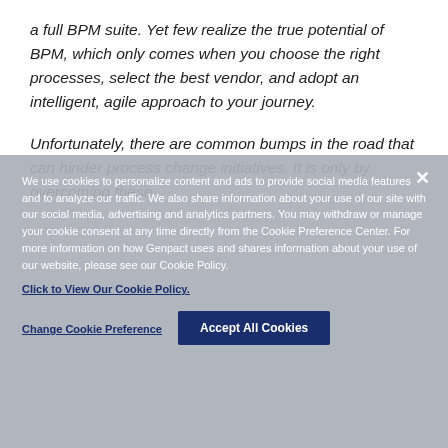a full BPM suite. Yet few realize the true potential of BPM, which only comes when you choose the right processes, select the best vendor, and adopt an intelligent, agile approach to your journey.
Unfortunately, there are common bumps in the road that can hinder process change initiatives. It is only by overcoming these
We use cookies to personalize content and ads to provide social media features and to analyze our traffic. We also share information about your use of our site with our social media, advertising and analytics partners. You may withdraw or manage your cookie consent at any time directly from the Cookie Preference Center. For more information on how Genpact uses and shares information about your use of our website, please see our Cookie Policy. Click to View Our Cookie Policy.
Change Cookie Preference
Accept All Cookies